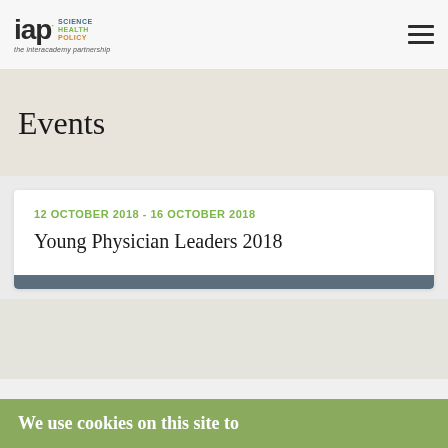IAP Science Health Policy – the Interacademy partnership
Events
12 OCTOBER 2018  -  16 OCTOBER 2018
Young Physician Leaders 2018
We use cookies on this site to